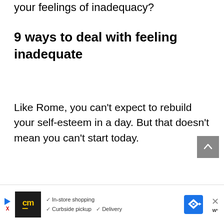your feelings of inadequacy?
9 ways to deal with feeling inadequate
Like Rome, you can't expect to rebuild your self-esteem in a day. But that doesn't mean you can't start today.
[Figure (other): Scroll-to-top button (grey square with upward chevron arrow)]
[Figure (other): Advertisement banner with cm logo, checkmarks for In-store shopping, Curbside pickup, Delivery, a blue navigation/map icon, and a close button]